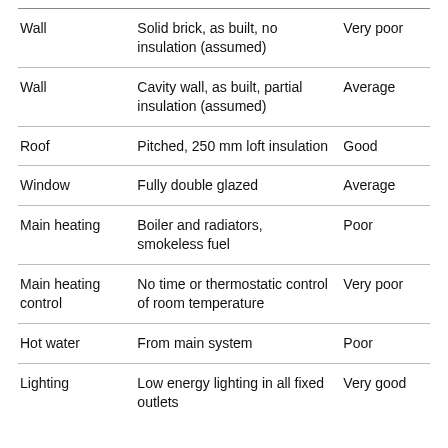| Wall | Solid brick, as built, no insulation (assumed) | Very poor |
| Wall | Cavity wall, as built, partial insulation (assumed) | Average |
| Roof | Pitched, 250 mm loft insulation | Good |
| Window | Fully double glazed | Average |
| Main heating | Boiler and radiators, smokeless fuel | Poor |
| Main heating control | No time or thermostatic control of room temperature | Very poor |
| Hot water | From main system | Poor |
| Lighting | Low energy lighting in all fixed outlets | Very good |